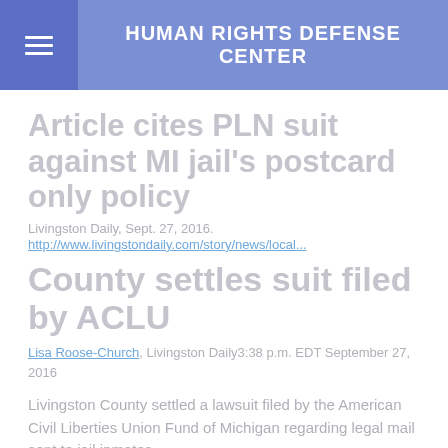HUMAN RIGHTS DEFENSE CENTER
Article cites PLN suit against MI jail's postcard only policy
Livingston Daily, Sept. 27, 2016.
http://www.livingstondaily.com/story/news/local...
County settles suit filed by ACLU
Lisa Roose-Church, Livingston Daily3:38 p.m. EDT September 27, 2016
Livingston County settled a lawsuit filed by the American Civil Liberties Union Fund of Michigan regarding legal mail sent to jail inmates.